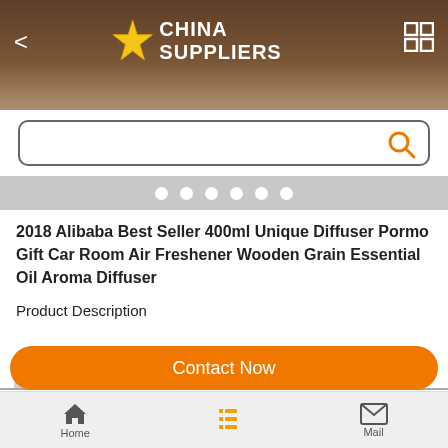CHINA SUPPLIERS
[Figure (screenshot): Search bar with orange search icon and rounded rectangle border]
[Figure (infographic): Carousel dots indicator - five white circles on gray background]
2018 Alibaba Best Seller 400ml Unique Diffuser Pormo Gift Car Room Air Freshener Wooden Grain Essential Oil Aroma Diffuser
Product Description
Product Description
Contact Now
Home   Mail